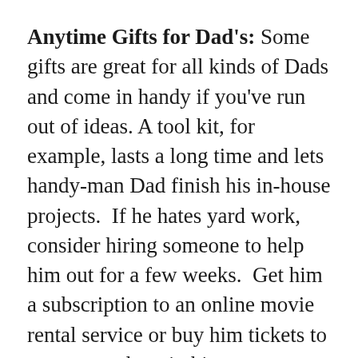Anytime Gifts for Dad's: Some gifts are great for all kinds of Dads and come in handy if you've run out of ideas. A tool kit, for example, lasts a long time and lets handy-man Dad finish his in-house projects.  If he hates yard work, consider hiring someone to help him out for a few weeks.  Get him a subscription to an online movie rental service or buy him tickets to a game or show in his town.
When buying Father's Day gifts, spend more time thinking about your Dad and his tastes and less time shopping – the secret lies in reading his thoughts and buying him the gift he really wants. It doesn't matter how much you spend on his gifts. All that counts is th